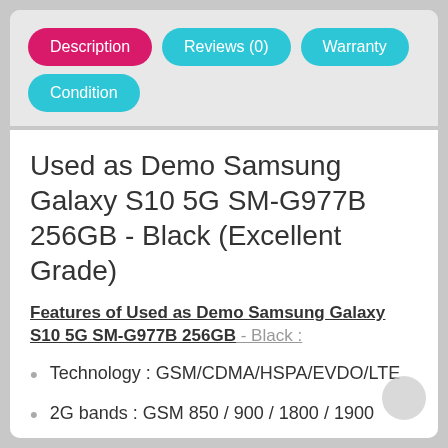Description
Reviews (0)
Warranty
Condition
Used as Demo Samsung Galaxy S10 5G SM-G977B 256GB - Black (Excellent Grade)
Features of Used as Demo Samsung Galaxy S10 5G SM-G977B 256GB - Black :
Technology : GSM/CDMA/HSPA/EVDO/LTE
2G bands : GSM 850 / 900 / 1800 / 1900
3G bands : HSDPA 850 / 900 / 1700(AWS) / 1900 /